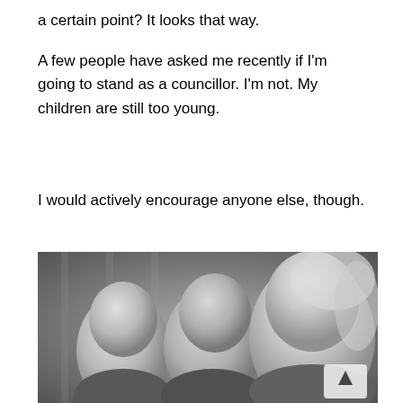a certain point? It looks that way.
A few people have asked me recently if I'm going to stand as a councillor. I'm not. My children are still too young.
I would actively encourage anyone else, though.
[Figure (photo): Black and white photograph of a smiling woman with long blonde hair posing with two young boys]